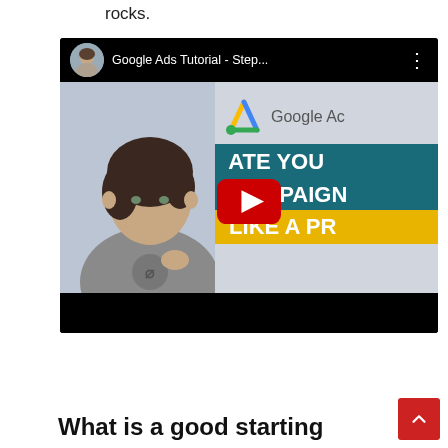rocks.
[Figure (screenshot): YouTube video thumbnail for 'Google Ads Tutorial - Step...' showing a man in a gray t-shirt on the left, Google Ads logo on the upper right, text banners reading 'CREATE YOUR CAMPAIGN LIKE A PRO', and a YouTube play button in the center.]
What is a good starting